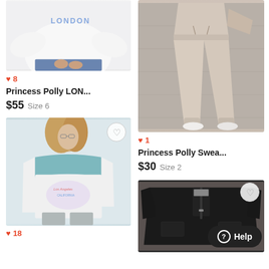[Figure (photo): White London sweatshirt product photo, cropped view showing torso with blue lettering]
♥ 8
Princess Polly LON...
$55  Size 6
[Figure (photo): Beige/tan jogger sweatpants product photo, full-length model shot against concrete wall]
♥ 1
Princess Polly Swea...
$30  Size 2
[Figure (photo): Graphic band sweatshirt in teal and white with colorful print, model wearing with grey sweatpants]
♥ 18
[Figure (photo): Black fleece zip-up jacket flat lay on carpet]